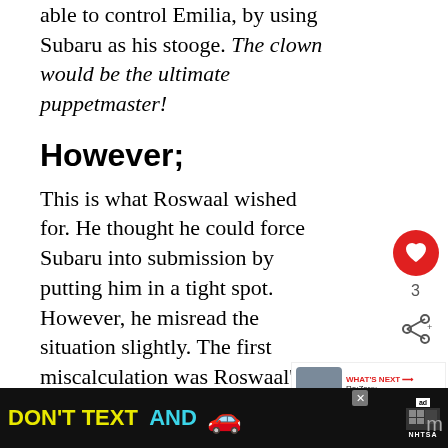able to control Emilia, by using Subaru as his stooge. The clown would be the ultimate puppetmaster!
However;
This is what Roswaal wished for. He thought he could force Subaru into submission by putting him in a tight spot. However, he misread the situation slightly. The first miscalculation was Roswaal's understanding of Return by Death.
[Figure (infographic): Advertisement banner at the bottom: DON'T TEXT AND (car emoji) with ad badge and NHTSA logo on black background]